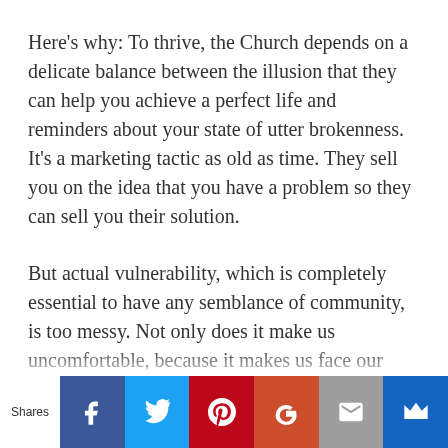Here's why: To thrive, the Church depends on a delicate balance between the illusion that they can help you achieve a perfect life and reminders about your state of utter brokenness. It's a marketing tactic as old as time. They sell you on the idea that you have a problem so they can sell you their solution.
But actual vulnerability, which is completely essential to have any semblance of community, is too messy. Not only does it make us uncomfortable, because it makes us face our own shortcomings and insecurities, it's impossible to gain huge…
Shares | Facebook | Twitter | Pinterest | Google+ | Email | Crown